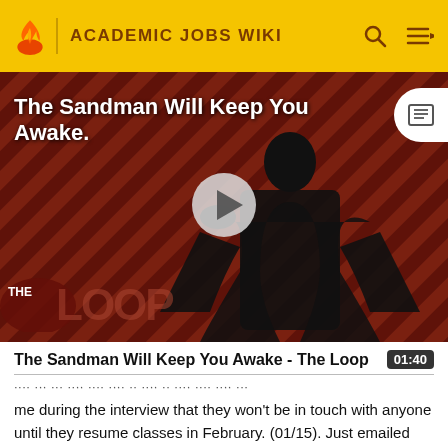Academic Jobs Wiki
[Figure (screenshot): Video thumbnail for 'The Sandman Will Keep You Awake - The Loop' showing a dark-costumed figure against a red diagonal-striped background, with a play button in the center and 'THE LOOP' logo at bottom left. Duration shown as 01:40.]
The Sandman Will Keep You Awake - The Loop
me during the interview that they won't be in touch with anyone until they resume classes in February. (01/15). Just emailed them to ask for a status. They informed me